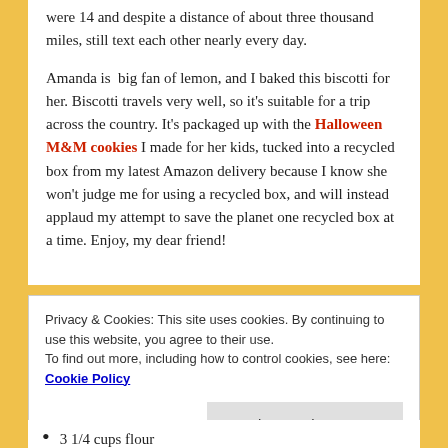were 14 and despite a distance of about three thousand miles, still text each other nearly every day.
Amanda is big fan of lemon, and I baked this biscotti for her. Biscotti travels very well, so it's suitable for a trip across the country. It's packaged up with the Halloween M&M cookies I made for her kids, tucked into a recycled box from my latest Amazon delivery because I know she won't judge me for using a recycled box, and will instead applaud my attempt to save the planet one recycled box at a time. Enjoy, my dear friend!
Privacy & Cookies: This site uses cookies. By continuing to use this website, you agree to their use. To find out more, including how to control cookies, see here: Cookie Policy
Close and accept
3 1/4 cups flour